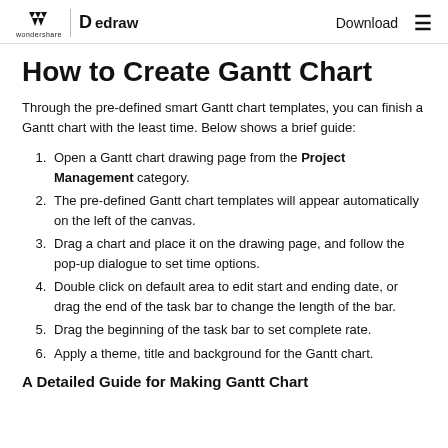wondershare | edraw | Download
How to Create Gantt Chart
Through the pre-defined smart Gantt chart templates, you can finish a Gantt chart with the least time. Below shows a brief guide:
Open a Gantt chart drawing page from the Project Management category.
The pre-defined Gantt chart templates will appear automatically on the left of the canvas.
Drag a chart and place it on the drawing page, and follow the pop-up dialogue to set time options.
Double click on default area to edit start and ending date, or drag the end of the task bar to change the length of the bar.
Drag the beginning of the task bar to set complete rate.
Apply a theme, title and background for the Gantt chart.
A Detailed Guide for Making Gantt Chart